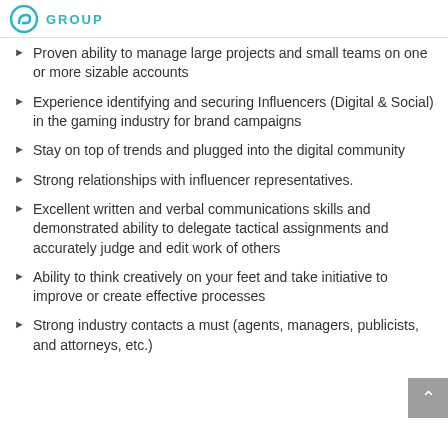GROUP
Proven ability to manage large projects and small teams on one or more sizable accounts
Experience identifying and securing Influencers (Digital & Social) in the gaming industry for brand campaigns
Stay on top of trends and plugged into the digital community
Strong relationships with influencer representatives.
Excellent written and verbal communications skills and demonstrated ability to delegate tactical assignments and accurately judge and edit work of others
Ability to think creatively on your feet and take initiative to improve or create effective processes
Strong industry contacts a must (agents, managers, publicists, and attorneys, etc.)